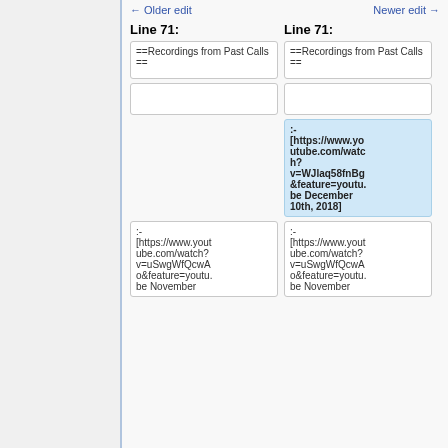← Older edit
Newer edit →
Line 71:
Line 71:
==Recordings from Past Calls==
==Recordings from Past Calls==
:-
[https://www.youtube.com/watch?v=WJlaq58fnBg&feature=youtube December 10th, 2018]
:-
[https://www.youtube.com/watch?v=uSwgWfQcwAo&feature=youtu.be November
:-
[https://www.youtube.com/watch?v=uSwgWfQcwAo&feature=youtu.be November